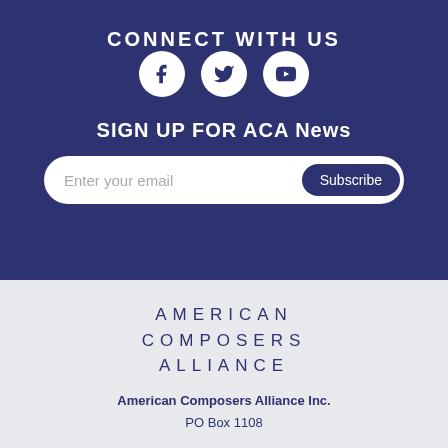CONNECT WITH US
[Figure (infographic): Three social media icons (Facebook, Twitter, YouTube) as white circles on dark blue background]
SIGN UP FOR ACA News
[Figure (infographic): Email subscription form with 'Enter your email' placeholder and 'Subscribe' button]
[Figure (logo): American Composers Alliance logo text in spaced uppercase letters]
American Composers Alliance Inc.
PO Box 1108